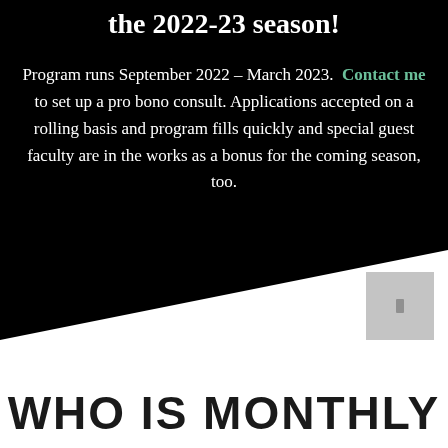the 2022-23 season!
Program runs September 2022 – March 2023. Contact me to set up a pro bono consult. Applications accepted on a rolling basis and program fills quickly and special guest faculty are in the works as a bonus for the coming season, too.
WHO IS MONTHLY